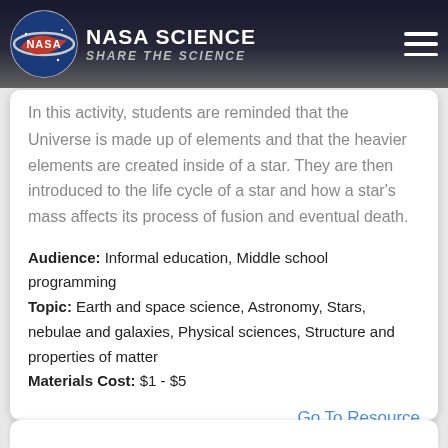NASA SCIENCE — SHARE THE SCIENCE
Supernova Explosions
In this activity, students are reminded that the Universe is made up of elements and that the heavier elements are created inside of a star. They are then introduced to the life cycle of a star and how a star's mass affects its process of fusion and eventual death.
Audience: Informal education, Middle school programming
Topic: Earth and space science, Astronomy, Stars, nebulae and galaxies, Physical sciences, Structure and properties of matter
Materials Cost: $1 - $5
Go To Resource